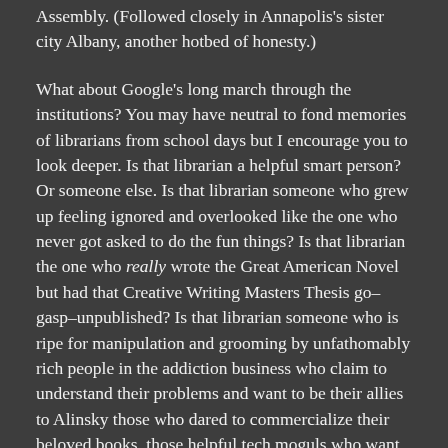Assembly. (Followed closely in Annapolis's sister city Albany, another hotbed of honesty.)
What about Google's long march through the institutions? You may have neutral to fond memories of librarians from school days but I encourage you to look deeper. Is that librarian a helpful smart person? Or someone else. Is that librarian someone who grew up feeling ignored and overlooked like the one who never got asked to do the fun things? Is that librarian the one who really wrote the Great American Novel but had that Creative Writing Masters Thesis go–gasp–unpublished? Is that librarian someone who is ripe for manipulation and grooming by unfathomably rich people in the addiction business who claim to understand their problems and want to be their allies to Alinsky those who dared to commercialize their beloved books, those helpful tech moguls who want to build the Digital Library of Alexandria for the greater good and promise to not be evil? You know, for all mankind?
Whatever actually happened, Google has weaponized libraries